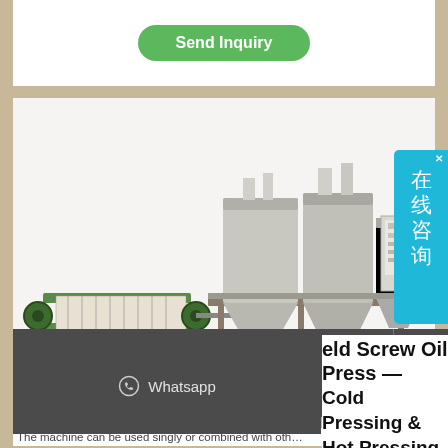Send Inquiry
[Figure (photo): Industrial oil press and refining machine assembly with stainless steel tanks and a green filter press unit on the left.]
在线咨询
Phone
Email
Whatsapp
eld Screw Oil Press — Cold Pressing & Hot Pressing
The machine can be used singly or combined with oth...